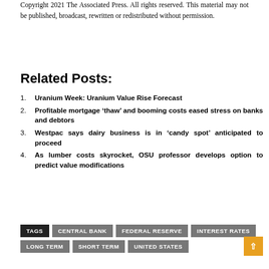Copyright 2021 The Associated Press. All rights reserved. This material may not be published, broadcast, rewritten or redistributed without permission.
Related Posts:
Uranium Week: Uranium Value Rise Forecast
Profitable mortgage ‘thaw’ and booming costs eased stress on banks and debtors
Westpac says dairy business is in ‘candy spot’ anticipated to proceed
As lumber costs skyrocket, OSU professor develops option to predict value modifications
TAGS: CENTRAL BANK | FEDERAL RESERVE | INTEREST RATES | LONG TERM | SHORT TERM | UNITED STATES